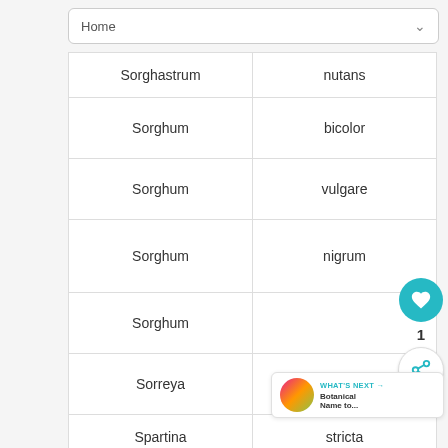| Genus | Species |
| --- | --- |
| Sorghastrum | nutans |
| Sorghum | bicolor |
| Sorghum | vulgare |
| Sorghum | nigrum |
| Sorghum |  |
| Sorreya | californica |
| Spartina | stricta |